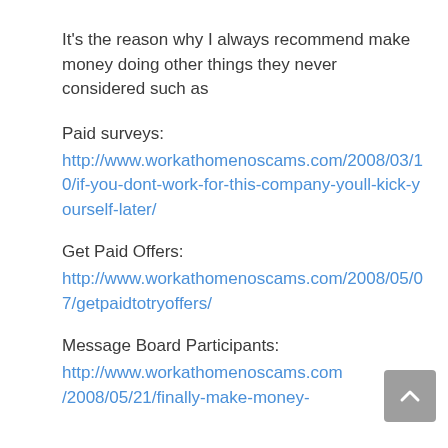It's the reason why I always recommend make money doing other things they never considered such as
Paid surveys:
http://www.workathomenoscams.com/2008/03/10/if-you-dont-work-for-this-company-youll-kick-yourself-later/
Get Paid Offers:
http://www.workathomenoscams.com/2008/05/07/getpaidtotryoffers/
Message Board Participants:
http://www.workathomenoscams.com/2008/05/21/finally-make-money-